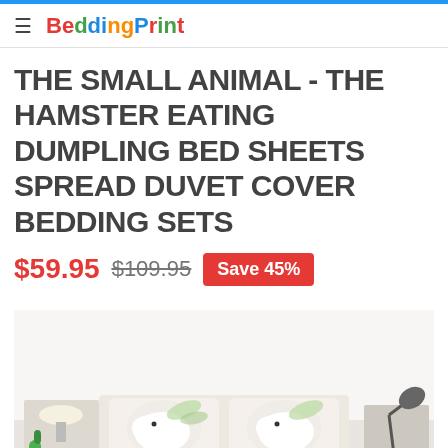BeddingPrint
THE SMALL ANIMAL - THE HAMSTER EATING DUMPLING BED SHEETS SPREAD DUVET COVER BEDDING SETS
$59.95  $109.95  Save 45%
[Figure (photo): Product photo showing hamster-themed bedding sets with pillow covers displaying white hamster eating dumpling design, shown on a bed in a bedroom setting]